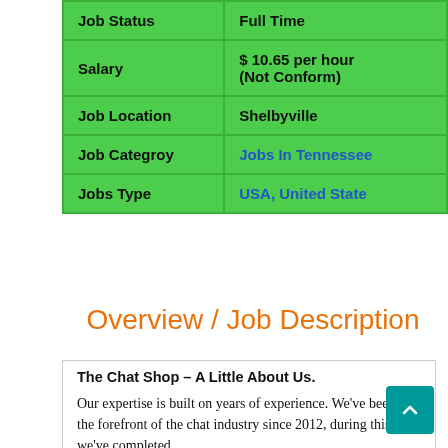| Field | Value |
| --- | --- |
| Job Status | Full Time |
| Salary | $ 10.65 per hour
(Not Conform) |
| Job Location | Shelbyville |
| Job Categroy | Jobs In Tennessee |
| Jobs Type | USA, United State |
Overview / Job Description
The Chat Shop – A Little About Us.

Our expertise is built on years of experience. We've been at the forefront of the chat industry since 2012, during this time we've completed